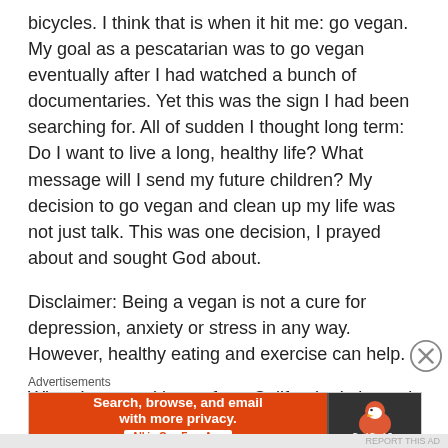bicycles. I think that is when it hit me: go vegan. My goal as a pescatarian was to go vegan eventually after I had watched a bunch of documentaries. Yet this was the sign I had been searching for. All of sudden I thought long term: Do I want to live a long, healthy life? What message will I send my future children? My decision to go vegan and clean up my life was not just talk. This was one decision, I prayed about and sought God about.
Disclaimer: Being a vegan is not a cure for depression, anxiety or stress in any way. However, healthy eating and exercise can help.
When I returned home from California, I cleaned out
Advertisements
[Figure (screenshot): DuckDuckGo advertisement banner: orange left panel with text 'Search, browse, and email with more privacy. All in One Free App' and dark right panel with DuckDuckGo duck logo]